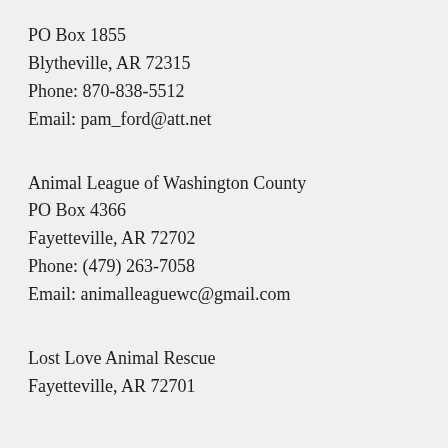PO Box 1855
Blytheville, AR 72315
Phone: 870-838-5512
Email: pam_ford@att.net
Animal League of Washington County
PO Box 4366
Fayetteville, AR 72702
Phone: (479) 263-7058
Email: animalleaguewc@gmail.com
Lost Love Animal Rescue
Fayetteville, AR 72701